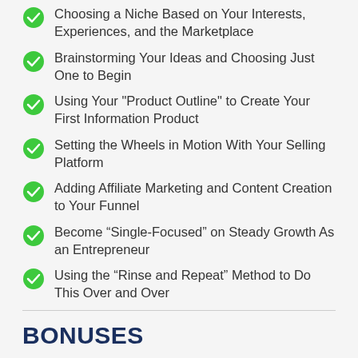Choosing a Niche Based on Your Interests, Experiences, and the Marketplace
Brainstorming Your Ideas and Choosing Just One to Begin
Using Your "Product Outline" to Create Your First Information Product
Setting the Wheels in Motion With Your Selling Platform
Adding Affiliate Marketing and Content Creation to Your Funnel
Become “Single-Focused” on Steady Growth As an Entrepreneur
Using the “Rinse and Repeat” Method to Do This Over and Over
BONUSES